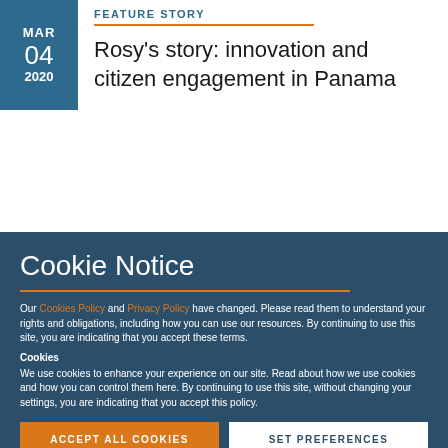MAR 04 2020
FEATURE STORY
Rosy's story: innovation and citizen engagement in Panama
Cookie Notice
Our Cookies Policy and Privacy Policy have changed. Please read them to understand your rights and obligations, including how you can use our resources. By continuing to use this site, you are indicating that you accept these terms.
Cookies
We use cookies to enhance your experience on our site. Read about how we use cookies and how you can control them here. By continuing to use this site, without changing your settings, you are indicating that you accept this policy.
ACCEPT ALL COOKIES
SET PREFERENCES